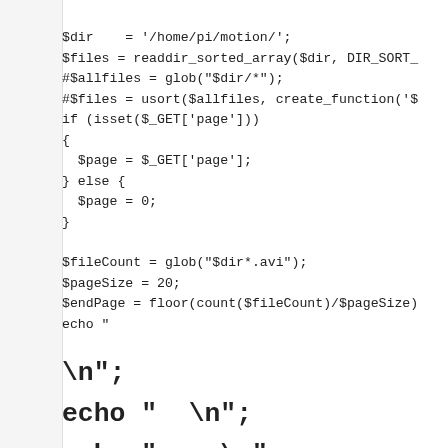$dir    = '/home/pi/motion/';
$files = readdir_sorted_array($dir, DIR_SORT_
#$allfiles = glob("$dir/*");
#$files = usort($allfiles, create_function('$
if (isset($_GET['page']))
{
  $page = $_GET['page'];
} else {
  $page = 0;
}

$fileCount = glob("$dir*.avi");
$pageSize = 20;
$endPage = floor(count($fileCount)/$pageSize)
echo "<h1><table width='100%' border='0'>\n";
echo "  <tr>\n";
echo "    <td colspan='2'>\n";
echo "<h1 align='center'>Page " . ($page + 1)
echo "    </td>\n";
echo "  </tr>\n";
echo "  <tr>\n";